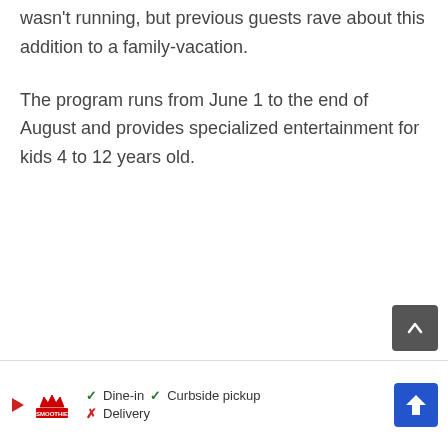wasn't running, but previous guests rave about this addition to a family-vacation.
The program runs from June 1 to the end of August and provides specialized entertainment for kids 4 to 12 years old.
[Figure (other): Advertisement banner at bottom of page showing a play button icon, Smoothie King logo, dine-in/curbside pickup/delivery options with checkmarks and X marks, and a navigation arrow icon]